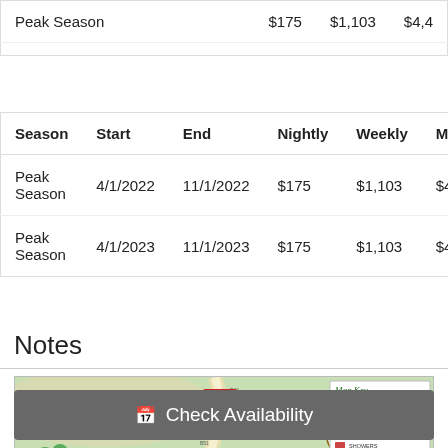| Season |  |  | Nightly | Weekly | M |
| --- | --- | --- | --- | --- | --- |
| Peak Season |  |  | $175 | $1,103 | $4,4 |
| Season | Start | End | Nightly | Weekly | M |
| --- | --- | --- | --- | --- | --- |
| Peak Season | 4/1/2022 | 11/1/2022 | $175 | $1,103 | $4 |
| Peak Season | 4/1/2023 | 11/1/2023 | $175 | $1,103 | $4 |
Notes
[Figure (map): Mountain Falls Luxury Motorcoach Resort map with 911 badge, site map, compass (AGS), and map key showing pull-in site, back-in site, restrooms, laundry, showers]